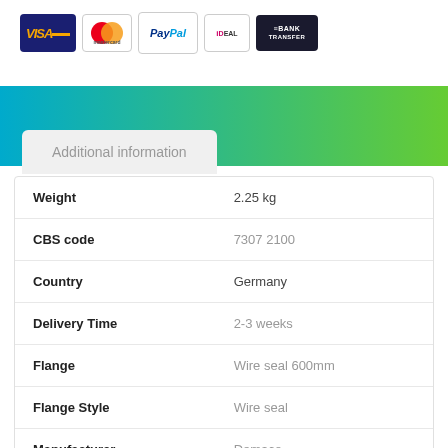[Figure (logo): Payment method logos: Visa, Mastercard, PayPal, iDEAL, Bank Transfer]
Additional information
| Attribute | Value |
| --- | --- |
| Weight | 2.25 kg |
| CBS code | 7307 2100 |
| Country | Germany |
| Delivery Time | 2-3 weeks |
| Flange | Wire seal 600mm |
| Flange Style | Wire seal |
| Manufacturer | Demaco |